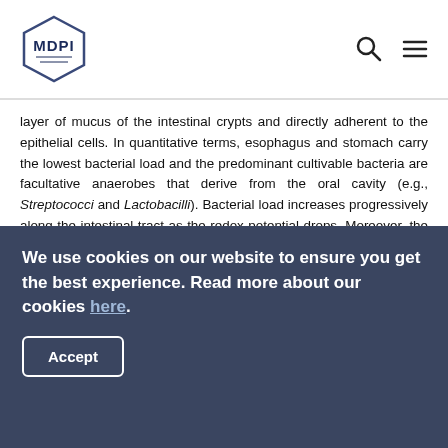MDPI
layer of mucus of the intestinal crypts and directly adherent to the epithelial cells. In quantitative terms, esophagus and stomach carry the lowest bacterial load and the predominant cultivable bacteria are facultative anaerobes that derive from the oral cavity (e.g., Streptococci and Lactobacilli). Bacterial load increases progressively along the intestinal tract as the redox potential drops. Moreover, the genus Streptococcus is the most represented among the microbiota of jejunum [28]. However, a significantly higher population of bacteria (108–109/g of feces) characterizes specifically the ileo-cecal area. In fact, the small intestine is enriched by the subgroup Bacillus bacteria (phylum Firmicutes, mainly Streptococcaceae, corresponding to 23% of
We use cookies on our website to ensure you get the best experience. Read more about our cookies here.
Accept